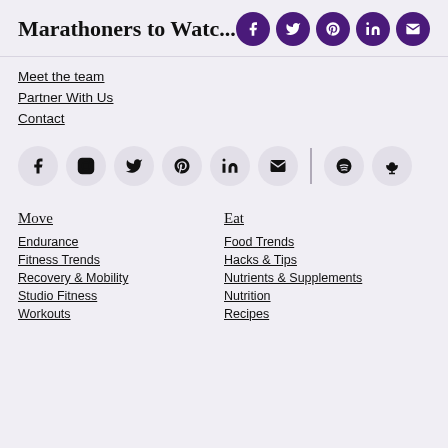Marathoners to Watc...
Meet the team
Partner With Us
Contact
[Figure (infographic): Row of social media icon circles (Facebook, Instagram, Twitter, Pinterest, LinkedIn, Email, divider, Spotify, Podcast) on gray background]
Move
Eat
Endurance
Food Trends
Fitness Trends
Hacks & Tips
Recovery & Mobility
Nutrients & Supplements
Studio Fitness
Nutrition
Workouts
Recipes